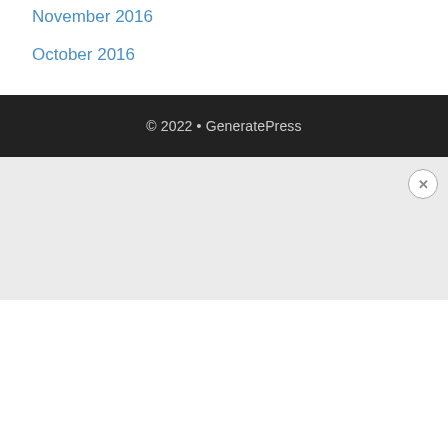November 2016
October 2016
© 2022 • GeneratePress